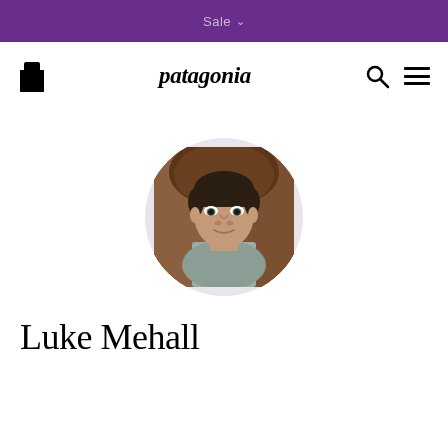Sale
[Figure (logo): Patagonia website header with shopping bag icon on left, 'patagonia' italic logo in center, search and hamburger menu icons on right]
[Figure (photo): Circular profile photo of Luke Mehall, a man with dark hair wearing a grey shirt, seated in front of a brown leather chair]
Luke Mehall